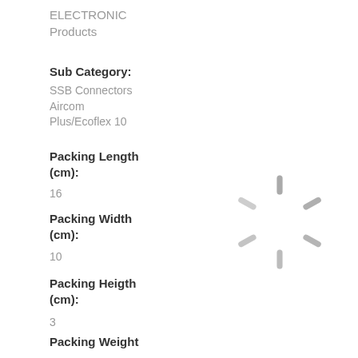ELECTRONIC
Products
Sub Category:
SSB Connectors
Aircom
Plus/Ecoflex 10
Packing Length (cm):
16
Packing Width (cm):
10
[Figure (other): Loading spinner / animated loading icon (circular dashes in gray)]
Packing Heigth (cm):
3
Packing Weight in grams:
60
Packing Type:
Bag
Packing QTY in